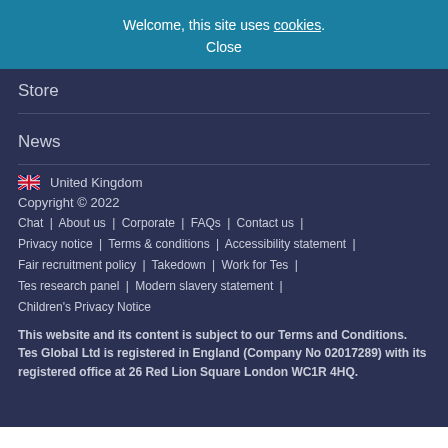Welcome, this site uses cookies. Close
Store
News
🇬🇧 United Kingdom
Copyright © 2022
Chat | About us | Corporate | FAQs | Contact us | Privacy notice | Terms & conditions | Accessibility statement | Fair recruitment policy | Takedown | Work for Tes | Tes research panel | Modern slavery statement | Children's Privacy Notice
This website and its content is subject to our Terms and Conditions. Tes Global Ltd is registered in England (Company No 02017289) with its registered office at 26 Red Lion Square London WC1R 4HQ.